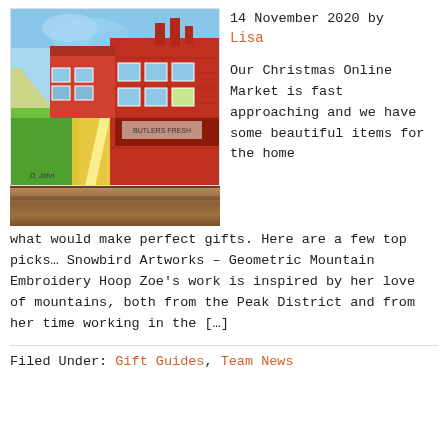[Figure (illustration): Colourful painted artwork of a red brick street scene with bright geometric colours — blue sky, yellow road markings, green grass, displayed on a wooden shelf.]
14 November 2020 by Lisa
Our Christmas Online Market is fast approaching and we have some beautiful items for the home what would make perfect gifts. Here are a few top picks… Snowbird Artworks – Geometric Mountain Embroidery Hoop Zoe's work is inspired by her love of mountains, both from the Peak District and from her time working in the […]
Filed Under: Gift Guides, Team News